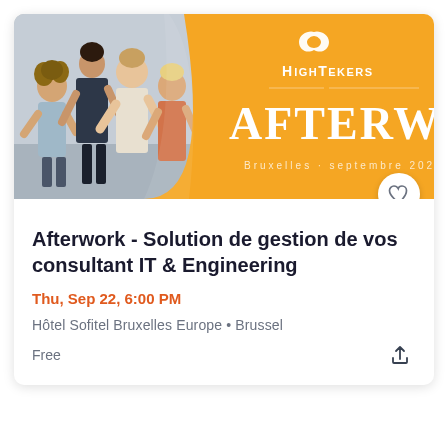[Figure (photo): Event card banner showing a group of professionals networking at an afterwork event. The left half shows a photo of people standing and talking (view from above), and the right portion has a golden-yellow diagonal panel with the Hightekers logo, the word AFTERWORK in large white serif text, and the subtitle 'Bruxelles · septembre 2022'.]
Afterwork - Solution de gestion de vos consultant IT & Engineering
Thu, Sep 22, 6:00 PM
Hôtel Sofitel Bruxelles Europe • Brussel
Free